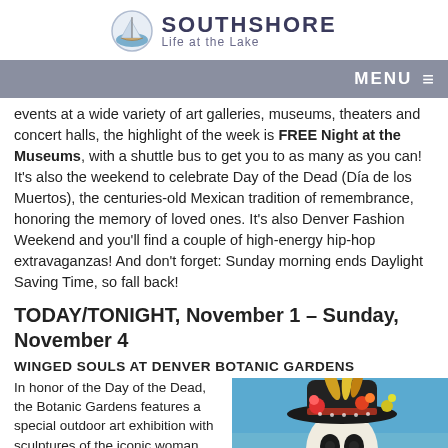[Figure (logo): Southshore Life at the Lake logo with sailboat icon]
MENU ≡
events at a wide variety of art galleries, museums, theaters and concert halls, the highlight of the week is FREE Night at the Museums, with a shuttle bus to get you to as many as you can! It's also the weekend to celebrate Day of the Dead (Día de los Muertos), the centuries-old Mexican tradition of remembrance, honoring the memory of loved ones. It's also Denver Fashion Weekend and you'll find a couple of high-energy hip-hop extravaganzas! And don't forget: Sunday morning ends Daylight Saving Time, so fall back!
TODAY/TONIGHT, November 1 – Sunday, November 4
WINGED SOULS AT DENVER BOTANIC GARDENS
In honor of the Day of the Dead, the Botanic Gardens features a special outdoor art exhibition with sculptures of the iconic woman figures known as...
[Figure (photo): Photo of a Day of the Dead skull figure wearing a colorful decorated sombrero with flowers]